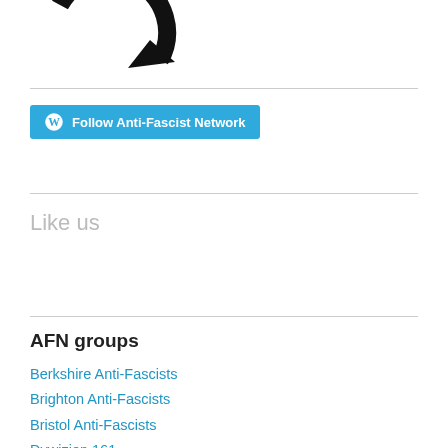[Figure (logo): Partial circular logo with arrow and letters 'rk' visible, black on white background]
[Figure (screenshot): Blue WordPress Follow button: 'Follow Anti-Fascist Network']
Like us
AFN groups
Berkshire Anti-Fascists
Brighton Anti-Fascists
Bristol Anti-Fascists
Dywizjon 161
Essex Anti-Fascists